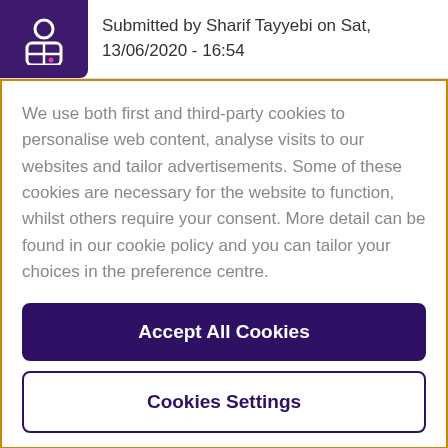Submitted by Sharif Tayyebi on Sat, 13/06/2020 - 16:54
We use both first and third-party cookies to personalise web content, analyse visits to our websites and tailor advertisements. Some of these cookies are necessary for the website to function, whilst others require your consent. More detail can be found in our cookie policy and you can tailor your choices in the preference centre.
Accept All Cookies
Cookies Settings